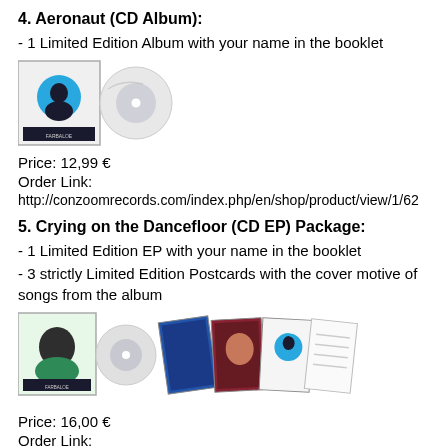4. Aeronaut (CD Album):
- 1 Limited Edition Album with your name in the booklet
[Figure (photo): CD album product image showing Aeronaut album cover with CD]
Price: 12,99 €
Order Link:
http://conzoomrecords.com/index.php/en/shop/product/view/1/62
5. Crying on the Dancefloor (CD EP) Package:
- 1 Limited Edition EP with your name in the booklet
- 3 strictly Limited Edition Postcards with the cover motive of songs from the album
[Figure (photo): CD EP package product image showing album and postcards]
Price: 16,00 €
Order Link:
http://conzoomrecords.com/index.php/en/shop/product/view/1/66
6. Crying on the Dancefloor (CD EP):
- 1 Limited Edition EP with your name in the booklet
[Figure (photo): CD EP product image (partially visible)]